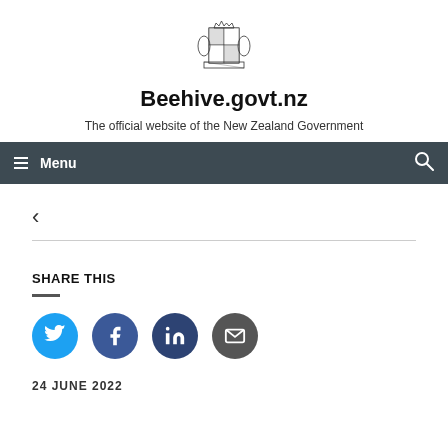[Figure (logo): New Zealand Government coat of arms logo]
Beehive.govt.nz
The official website of the New Zealand Government
≡ Menu
<
SHARE THIS
24 JUNE 2022